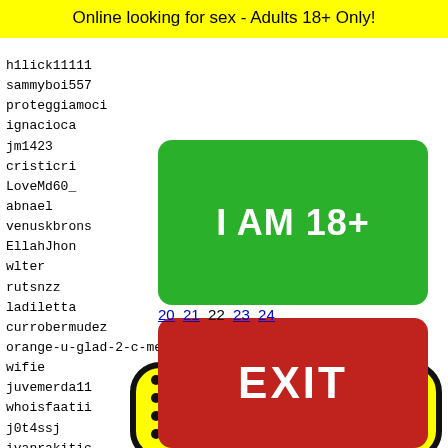Online looking for sex - Adults 18+ Only!
h1lick11111
sammyboi557
proteggiamoci
ignacioca
jm1423
cristicri
LoveMd60_
abnael
venuskbrons
EllahJhon
wlter
rutsnzz
ladiletta
currobermudez
orange-u-glad-2-c-me
wifie
juvemerda11
whoisfaatii
j0t4ssj
ivanrakitic
chm162
melare
4every
5sosru
chiaaa
alohcc
[Figure (other): Green button labeled I AM 18+]
[Figure (other): Red button labeled EXIT]
20 21 22 23 24
[Figure (other): Yellow rounded rectangle image with Snapchat ghost logo and decorative dots pattern]